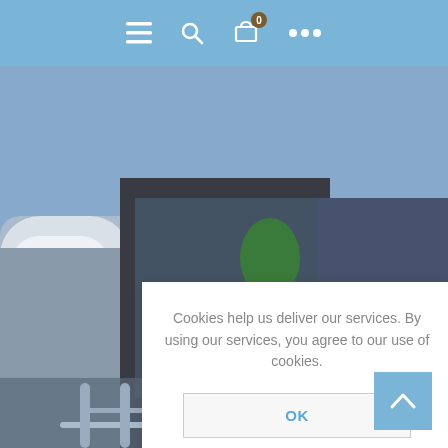[Figure (screenshot): Website navigation bar with hamburger menu, search, shopping cart (badge 0), and more options icons on a blue background]
[Figure (photo): Blurred background photo of urban buildings and street furniture (metal barriers/bollards) under a partly cloudy sky]
Cookies help us deliver our services. By using our services, you agree to our use of cookies.
OK
Learn more